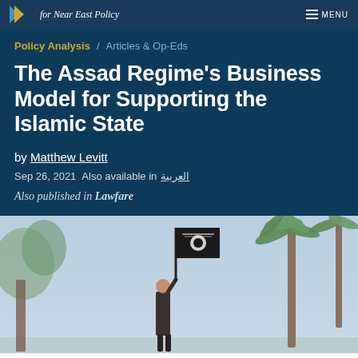for Near East Policy
Policy Analysis / Articles & Op-Eds
The Assad Regime's Business Model for Supporting the Islamic State
by Matthew Levitt
Sep 26, 2021  Also available in العربية
Also published in Lawfare
[Figure (photo): A person holding a black ISIS flag with a palm tree in the background under a light blue sky]